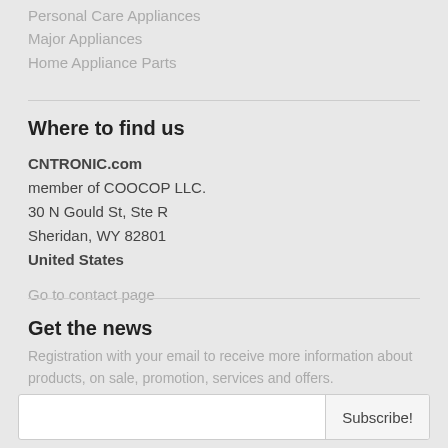Personal Care Appliances
Major Appliances
Home Appliance Parts
Where to find us
CNTRONIC.com
member of COOCOP LLC.
30 N Gould St, Ste R
Sheridan, WY 82801
United States
Go to contact page
Get the news
Registration with your email to receive more information about products, on sale, promotion, services and offers.